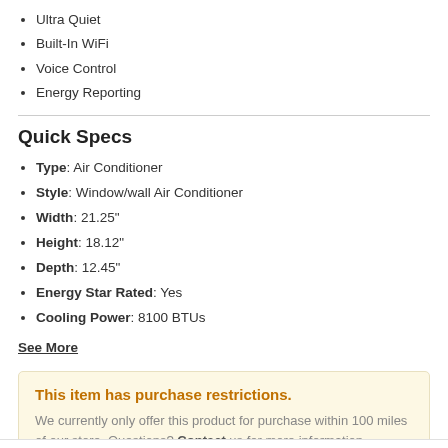Ultra Quiet
Built-In WiFi
Voice Control
Energy Reporting
Quick Specs
Type: Air Conditioner
Style: Window/wall Air Conditioner
Width: 21.25"
Height: 18.12"
Depth: 12.45"
Energy Star Rated: Yes
Cooling Power: 8100 BTUs
See More
This item has purchase restrictions. We currently only offer this product for purchase within 100 miles of our store. Questions? Contact us for more information.